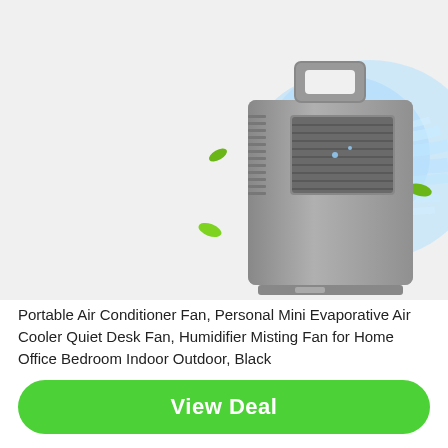[Figure (photo): A portable mini evaporative air cooler fan shown in gray/silver color with a carrying handle on top, vents on the side, and a blue cooling air effect with green leaf decorations blowing out from the front.]
Portable Air Conditioner Fan, Personal Mini Evaporative Air Cooler Quiet Desk Fan, Humidifier Misting Fan for Home Office Bedroom Indoor Outdoor, Black
View Deal